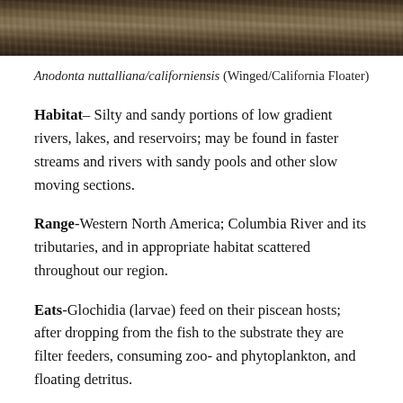[Figure (photo): Photograph of Anodonta nuttalliana/californiensis mussel in natural habitat, showing rocky/muddy substrate texture]
Anodonta nuttalliana/californiensis (Winged/California Floater)
Habitat– Silty and sandy portions of low gradient rivers, lakes, and reservoirs; may be found in faster streams and rivers with sandy pools and other slow moving sections.
Range-Western North America; Columbia River and its tributaries, and in appropriate habitat scattered throughout our region.
Eats-Glochidia (larvae) feed on their piscean hosts; after dropping from the fish to the substrate they are filter feeders, consuming zoo- and phytoplankton, and floating detritus.